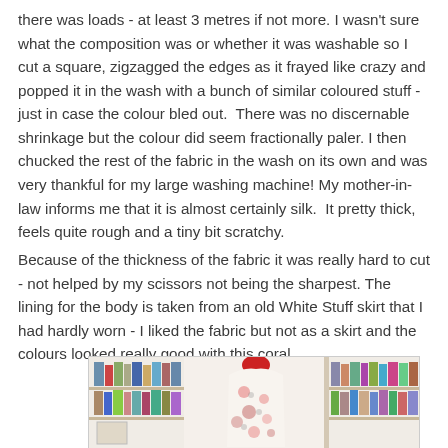there was loads - at least 3 metres if not more. I wasn't sure what the composition was or whether it was washable so I cut a square, zigzagged the edges as it frayed like crazy and popped it in the wash with a bunch of similar coloured stuff - just in case the colour bled out.  There was no discernable shrinkage but the colour did seem fractionally paler. I then chucked the rest of the fabric in the wash on its own and was very thankful for my large washing machine! My mother-in-law informs me that it is almost certainly silk.  It pretty thick, feels quite rough and a tiny bit scratchy.
Because of the thickness of the fabric it was really hard to cut - not helped by my scissors not being the sharpest. The lining for the body is taken from an old White Stuff skirt that I had hardly worn - I liked the fabric but not as a skirt and the colours looked really good with this coral.
[Figure (photo): A floral fabric garment (jacket or top) displayed on a red dress form/mannequin in front of white bookshelves filled with books. The fabric is light/white with coral/pink and grey floral pattern.]